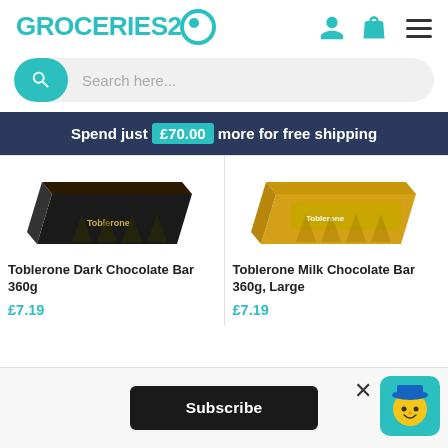GROCERIES2GO
Search here...
Spend just £70.00 more for free shipping
[Figure (photo): Toblerone Dark Chocolate Bar 360g product image]
Toblerone Dark Chocolate Bar 360g
£7.19
[Figure (photo): Toblerone Milk Chocolate Bar 360g, Large product image]
Toblerone Milk Chocolate Bar 360g, Large
£7.19
Subscribe